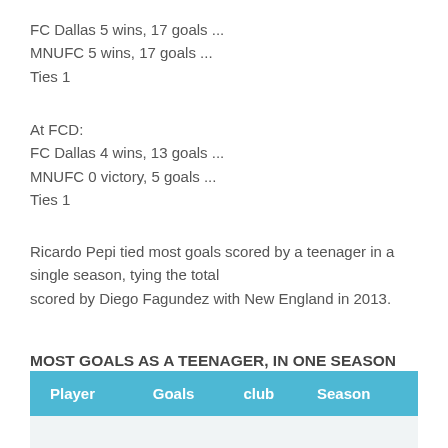FC Dallas 5 wins, 17 goals ...
MNUFC 5 wins, 17 goals ...
Ties 1
At FCD:
FC Dallas 4 wins, 13 goals ...
MNUFC 0 victory, 5 goals ...
Ties 1
Ricardo Pepi tied most goals scored by a teenager in a single season, tying the total scored by Diego Fagundez with New England in 2013.
MOST GOALS AS A TEENAGER, IN ONE SEASON
| Player | Goals | club | Season |
| --- | --- | --- | --- |